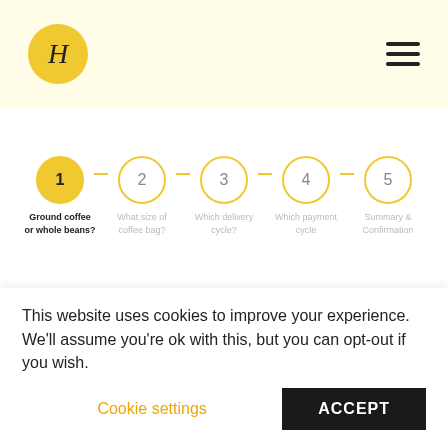[Figure (logo): Logo circle with H letter in serif font, golden/yellow background]
[Figure (infographic): 5-step progress indicator. Step 1 (active, filled yellow): Ground coffee or whole beans? Step 2: What size of coffee bag? Step 3: Which delivery cycle? Step 4: Which payment cycle? Step 5: Summary & Confirmation]
Maximum freshness!
This website uses cookies to improve your experience. We'll assume you're ok with this, but you can opt-out if you wish.
Cookie settings
ACCEPT